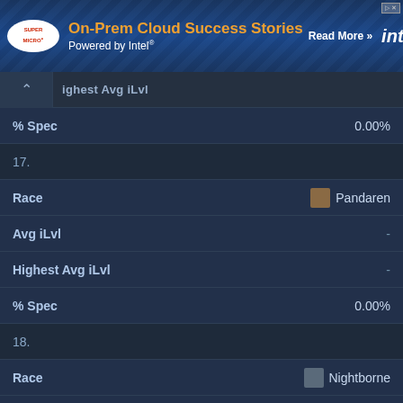[Figure (screenshot): Supermicro / Intel advertisement banner: 'On-Prem Cloud Success Stories Powered by Intel® Read More >>' with Supermicro logo and Intel logo on dark blue server rack background]
highest Avg iLvl
| Field | Value |
| --- | --- |
| % Spec | 0.00% |
| 17. |  |
| Race | Pandaren |
| Avg iLvl | - |
| Highest Avg iLvl | - |
| % Spec | 0.00% |
| 18. |  |
| Race | Nightborne |
| Avg iLvl | - |